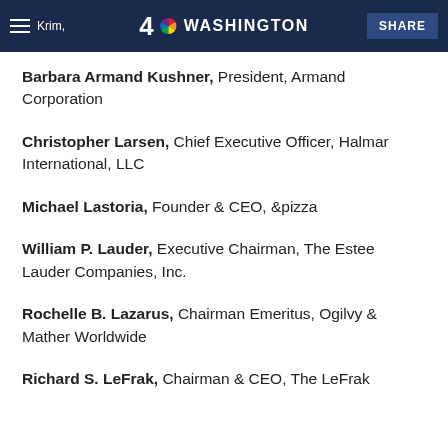NBC 4 Washington — SHARE
Barbara Armand Kushner, President, Armand Corporation
Christopher Larsen, Chief Executive Officer, Halmar International, LLC
Michael Lastoria, Founder & CEO, &pizza
William P. Lauder, Executive Chairman, The Estee Lauder Companies, Inc.
Rochelle B. Lazarus, Chairman Emeritus, Ogilvy & Mather Worldwide
Richard S. LeFrak, Chairman & CEO, The LeFrak